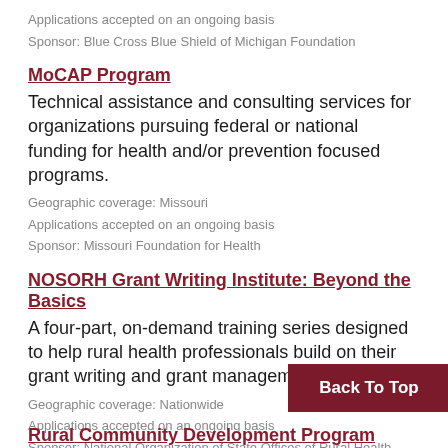Applications accepted on an ongoing basis
Sponsor: Blue Cross Blue Shield of Michigan Foundation
MoCAP Program
Technical assistance and consulting services for organizations pursuing federal or national funding for health and/or prevention focused programs.
Geographic coverage: Missouri
Applications accepted on an ongoing basis
Sponsor: Missouri Foundation for Health
NOSORH Grant Writing Institute: Beyond the Basics
A four-part, on-demand training series designed to help rural health professionals build on their grant writing and grant management skills.
Geographic coverage: Nationwide
Applications accepted on an ongoing basis
Sponsor: National Organization of State Offices of Rural Health
Rural Community Development Program